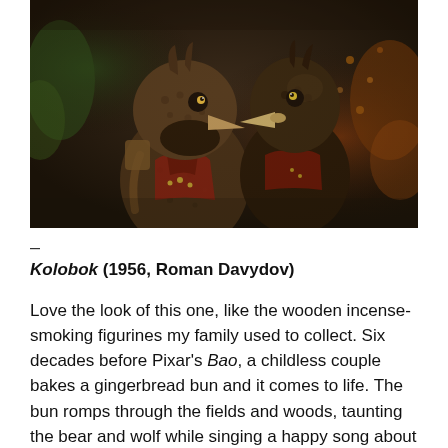[Figure (photo): Stop-motion animated puppet characters resembling owl-like birds with textured feathery brown bodies, beaks, and red leather vest accessories, facing each other in profile against a dark green and warm orange background.]
– 
Kolobok (1956, Roman Davydov)
Love the look of this one, like the wooden incense-smoking figurines my family used to collect. Six decades before Pixar's Bao, a childless couple bakes a gingerbread bun and it comes to life. The bun romps through the fields and woods, taunting the bear and wolf while singing a happy song about how delicious it must be, until a fox (again with the foxes) chases it to